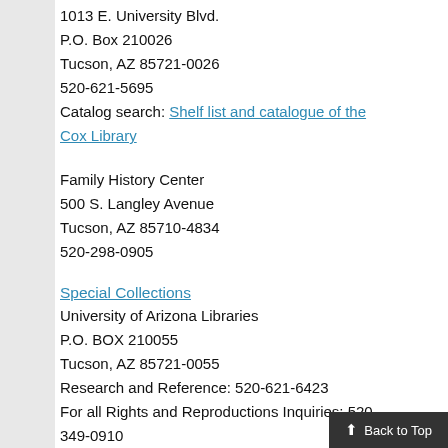1013 E. University Blvd.
P.O. Box 210026
Tucson, AZ 85721-0026
520-621-5695
Catalog search: Shelf list and catalogue of the Cox Library
Family History Center
500 S. Langley Avenue
Tucson, AZ 85710-4834
520-298-0905
Special Collections
University of Arizona Libraries
P.O. BOX 210055
Tucson, AZ 85721-0055
Research and Reference: 520-621-6423
For all Rights and Reproductions Inquiries: 520-349-0910
Fax: 520-621-2709